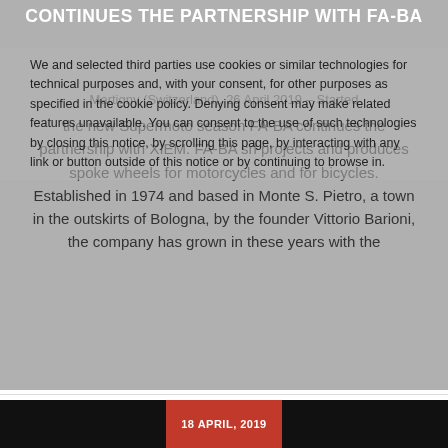CONTINUES THE PARTNERSHIP WITH FA-BA
We and selected third parties use cookies or similar technologies for technical purposes and, with your consent, for other purposes as specified in the cookie policy. Denying consent may make related features unavailable. You can consent to the use of such technologies by closing this notice, by scrolling this page, by interacting with any link or button outside of this notice or by continuing to browse in.
Martigny (Switzerland), 26 April 2019 – Started the new Supermoto season FA-BA continues the partnership with XIEM. FA-BA srl projects and produces spoke wheels for motorcycles and for bicycles. Established in 1974 and based in Monte S. Pietro, a town in the outskirts of Bologna, by the founder Vittorio Barioni, the company has grown in these years with the
[Figure (other): Social share icons: Facebook, Twitter, Google+, Pinterest]
18 APRIL, 2019